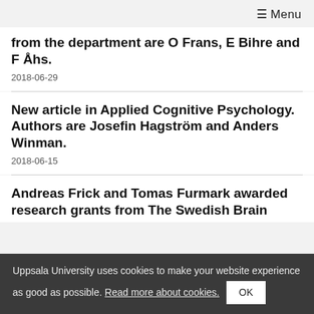≡ Menu
from the department are O Frans, E Bihre and F Åhs.
2018-06-29
New article in Applied Cognitive Psychology. Authors are Josefin Hagström and Anders Winman.
2018-06-15
Andreas Frick and Tomas Furmark awarded research grants from The Swedish Brain
Uppsala University uses cookies to make your website experience as good as possible. Read more about cookies.